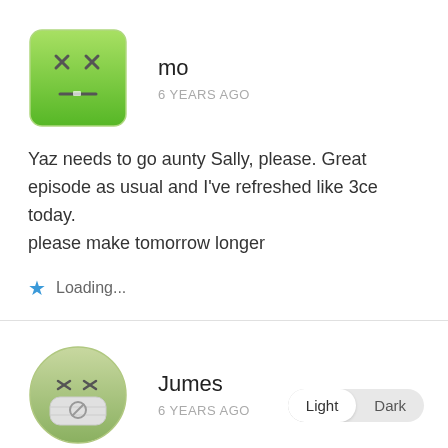[Figure (illustration): Green square cartoon face avatar with X eyes and line mouth, rounded corners]
mo
6 YEARS AGO
Yaz needs to go aunty Sally, please. Great episode as usual and I've refreshed like 3ce today.
please make tomorrow longer
Loading...
[Figure (illustration): Green circular cartoon face avatar with mask and X eyes]
Jumes
6 YEARS AGO